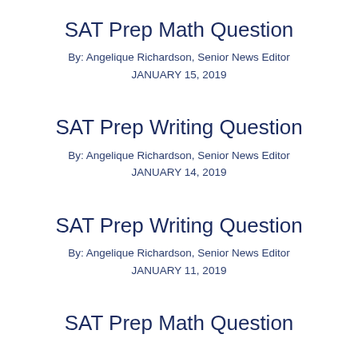SAT Prep Math Question
By: Angelique Richardson, Senior News Editor
JANUARY 15, 2019
SAT Prep Writing Question
By: Angelique Richardson, Senior News Editor
JANUARY 14, 2019
SAT Prep Writing Question
By: Angelique Richardson, Senior News Editor
JANUARY 11, 2019
SAT Prep Math Question